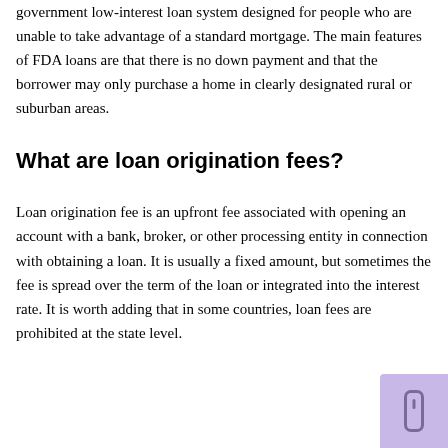government low-interest loan system designed for people who are unable to take advantage of a standard mortgage. The main features of FDA loans are that there is no down payment and that the borrower may only purchase a home in clearly designated rural or suburban areas.
What are loan origination fees?
Loan origination fee is an upfront fee associated with opening an account with a bank, broker, or other processing entity in connection with obtaining a loan. It is usually a fixed amount, but sometimes the fee is spread over the term of the loan or integrated into the interest rate. It is worth adding that in some countries, loan fees are prohibited at the state level.